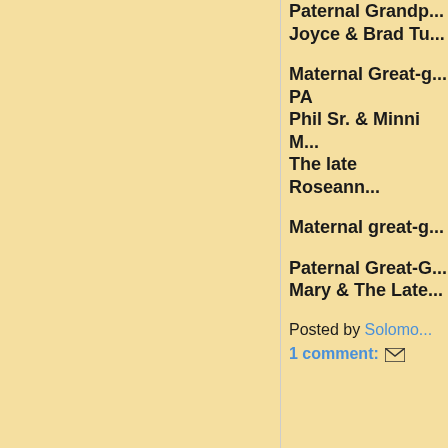Paternal Grandp...
Joyce & Brad Tu...
Maternal Great-g...
PA
Phil Sr. & Minni M...
The late Roseann...
Maternal great-g...
Paternal Great-G...
Mary & The Late...
Posted by Solomo...
1 comment: